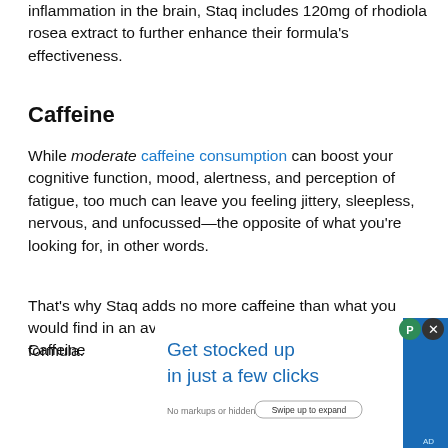inflammation in the brain, Staq includes 120mg of rhodiola rosea extract to further enhance their formula's effectiveness.
Caffeine
While moderate caffeine consumption can boost your cognitive function, mood, alertness, and perception of fatigue, too much can leave you feeling jittery, sleepless, nervous, and unfocussed—the opposite of what you're looking for, in other words.
That's why Staq adds no more caffeine than what you would find in an average cup of coffee (100mg) to their formula.
Caffeine [partially obscured] red
[Figure (other): Advertisement overlay reading 'Get stocked up in just a few clicks' with blue and white design, subtext 'No markups or hidden fees.' and 'Swipe up to expand' button]